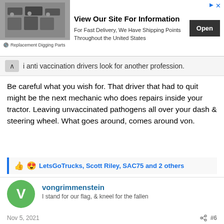[Figure (screenshot): Advertisement banner for Replacement Digging Parts: 'View Our Site For Information. For Fast Delivery, We Have Shipping Points Throughout the United States.' with Open button.]
anti vaccination drivers look for another profession.
Be careful what you wish for. That driver that had to quit might be the next mechanic who does repairs inside your tractor. Leaving unvaccinated pathogens all over your dash & steering wheel. What goes around, comes around von.
LetsGoTrucks, Scott Riley, SAC75 and 2 others
vongrimmenstein
I stand for our flag, & kneel for the fallen
Nov 5, 2021  #6
ebark63 said:
Get the shot. Didn't effect me at all. Booster...sure, which arm? Hope